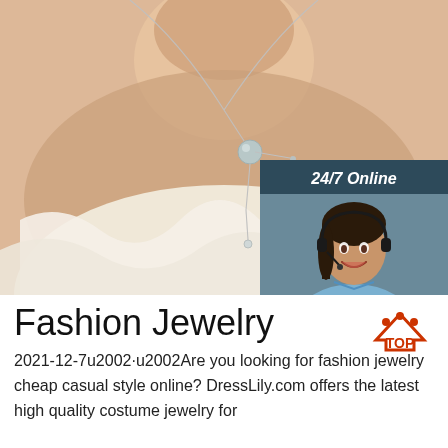[Figure (photo): Woman wearing a delicate silver pendant necklace with a pearl/crystal drop, wearing a white ruffled top. Also shows a customer service chat widget with a smiling female agent wearing a headset, dark blue background, with '24/7 Online' header, 'Click here for free chat!' text, and an orange 'QUOTATION' button.]
Fashion Jewelry
2021-12-7u2002·u2002Are you looking for fashion jewelry cheap casual style online? DressLily.com offers the latest high quality costume jewelry for